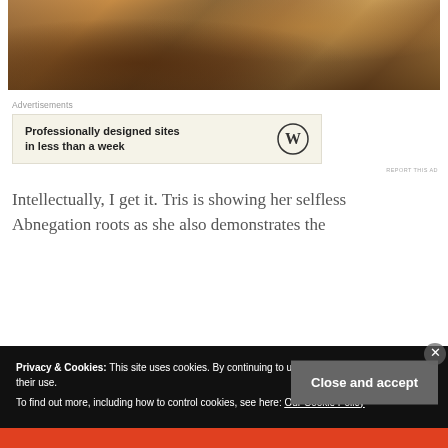[Figure (photo): Post-apocalyptic or disaster scene showing rubble, debris, and destroyed structures with warm orange-brown tones]
Advertisements
[Figure (other): WordPress advertisement: Professionally designed sites in less than a week, with WordPress logo]
REPORT THIS AD
Intellectually, I get it. Tris is showing her selfless Abnegation roots as she also demonstrates the
Privacy & Cookies: This site uses cookies. By continuing to use this website, you agree to their use.
To find out more, including how to control cookies, see here: Our Cookie Policy
Close and accept